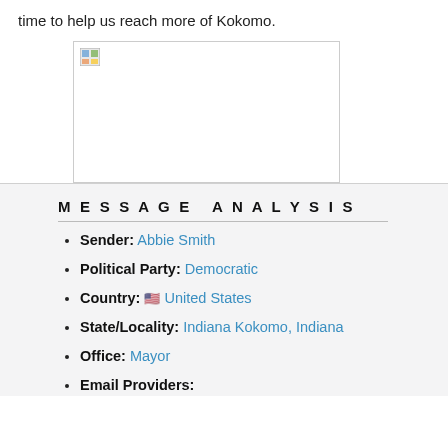time to help us reach more of Kokomo.
[Figure (photo): Broken image placeholder with border]
MESSAGE ANALYSIS
Sender: Abbie Smith
Political Party: Democratic
Country: 🇺🇸 United States
State/Locality: Indiana Kokomo, Indiana
Office: Mayor
Email Providers: